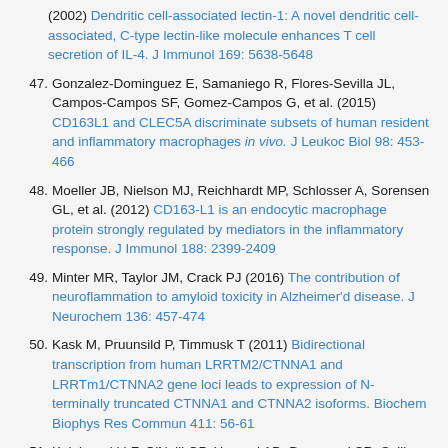(2002) Dendritic cell-associated lectin-1: A novel dendritic cell-associated, C-type lectin-like molecule enhances T cell secretion of IL-4. J Immunol 169: 5638-5648
47. Gonzalez-Dominguez E, Samaniego R, Flores-Sevilla JL, Campos-Campos SF, Gomez-Campos G, et al. (2015) CD163L1 and CLEC5A discriminate subsets of human resident and inflammatory macrophages in vivo. J Leukoc Biol 98: 453-466
48. Moeller JB, Nielson MJ, Reichhardt MP, Schlosser A, Sorensen GL, et al. (2012) CD163-L1 is an endocytic macrophage protein strongly regulated by mediators in the inflammatory response. J Immunol 188: 2399-2409
49. Minter MR, Taylor JM, Crack PJ (2016) The contribution of neuroflammation to amyloid toxicity in Alzheimer'd disease. J Neurochem 136: 457-474
50. Kask M, Pruunsild P, Timmusk T (2011) Bidirectional transcription from human LRRTM2/CTNNA1 and LRRTm1/CTNNA2 gene loci leads to expression of N-terminally truncated CTNNA1 and CTNNA2 isoforms. Biochem Biophys Res Commun 411: 56-61
51. Kolakowski LF, O'Neill GP, Howard AD, Broussard SR, Sullivan